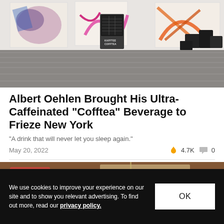[Figure (photo): Art gallery interior with colorful abstract paintings on white walls, a vending machine labeled KAFFTEE COFFTEA in the center, and black sculptural objects on the right. Gray herringbone wood floor.]
Albert Oehlen Brought His Ultra-Caffeinated “Cofftea” Beverage to Frieze New York
“A drink that will never let you sleep again.”
May 20, 2022   🔥 4.7K  💬 0
[Figure (photo): Close-up of objects on a wooden surface, partially visible.]
We use cookies to improve your experience on our site and to show you relevant advertising. To find out more, read our privacy policy.